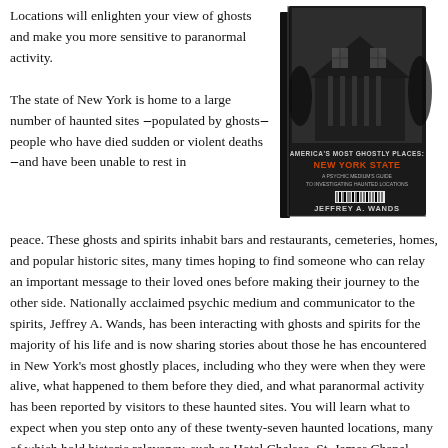Locations will enlighten your view of ghosts and make you more sensitive to paranormal activity.
[Figure (photo): Book cover of 'America's Most Ghostly Places: New York State — A Psychic Medium's Guide to Investigating Haunted Locations' by Jeffrey A. Wands, showing a dark haunted house image.]
The state of New York is home to a large number of haunted sites ‒populated by ghosts‒people who have died sudden or violent deaths ‒and have been unable to rest in peace. These ghosts and spirits inhabit bars and restaurants, cemeteries, homes, and popular historic sites, many times hoping to find someone who can relay an important message to their loved ones before making their journey to the other side. Nationally acclaimed psychic medium and communicator to the spirits, Jeffrey A. Wands, has been interacting with ghosts and spirits for the majority of his life and is now sharing stories about those he has encountered in New York's most ghostly places, including who they were when they were alive, what happened to them before they died, and what paranormal activity has been reported by visitors to these haunted sites. You will learn what to expect when you step onto any of these twenty-seven haunted locations, many of which hold historic relevancy, such as Hotel Chelsea, St. James Chapel, Flushing Town Hall, Five Corners